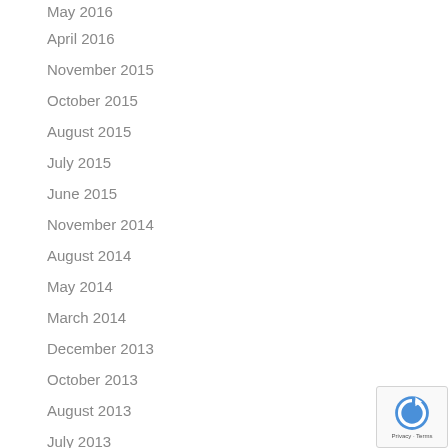May 2016
April 2016
November 2015
October 2015
August 2015
July 2015
June 2015
November 2014
August 2014
May 2014
March 2014
December 2013
October 2013
August 2013
July 2013